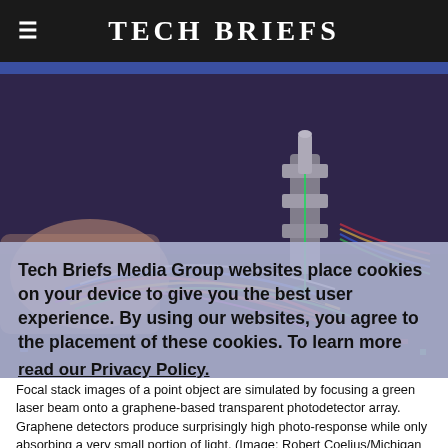Tech Briefs
[Figure (photo): Close-up photo of a person's hand working with colorful wires and electronic components on a precision optical/mechanical assembly, with a laser or lens apparatus visible. Purple-toned lighting.]
Tech Briefs Media Group websites place cookies on your device to give you the best user experience. By using our websites, you agree to the placement of these cookies. To learn more, read our Privacy Policy.
Accept & Continue
Focal stack images of a point object are simulated by focusing a green laser beam onto a graphene-based transparent photodetector array. Graphene detectors produce surprisingly high photo-response while only absorbing a very small portion of light. (Image: Robert Coelius/Michigan Engineering, Communications and Marketing)